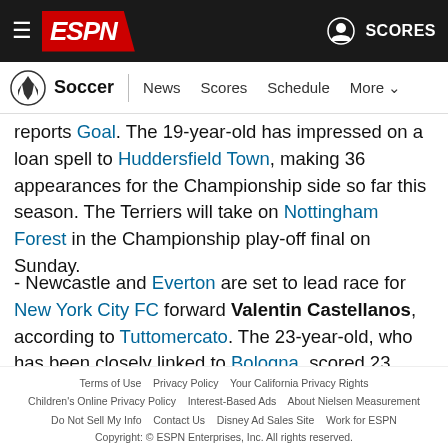ESPN Soccer | News  Scores  Schedule  More
reports Goal. The 19-year-old has impressed on a loan spell to Huddersfield Town, making 36 appearances for the Championship side so far this season. The Terriers will take on Nottingham Forest in the Championship play-off final on Sunday.
- Newcastle and Everton are set to lead race for New York City FC forward Valentin Castellanos, according to Tuttomercato. The 23-year-old, who has been closely linked to Bologna, scored 23 goals in 36 matches for NYCFC last season are their way to winning the MLS Cup. River Plate have already had a
Terms of Use   Privacy Policy   Your California Privacy Rights   Children's Online Privacy Policy   Interest-Based Ads   About Nielsen Measurement   Do Not Sell My Info   Contact Us   Disney Ad Sales Site   Work for ESPN   Copyright: © ESPN Enterprises, Inc. All rights reserved.